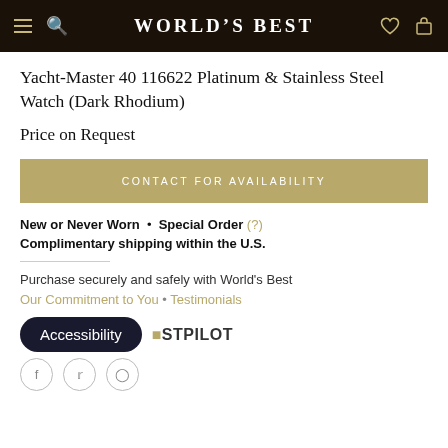World's Best
Yacht-Master 40 116622 Platinum & Stainless Steel Watch (Dark Rhodium)
Price on Request
CONTACT FOR AVAILABILITY
New or Never Worn • Special Order (?) Complimentary shipping within the U.S.
Purchase securely and safely with World's Best
Our Commitment to You • Testimonials
ESTPILOT
Accessibility